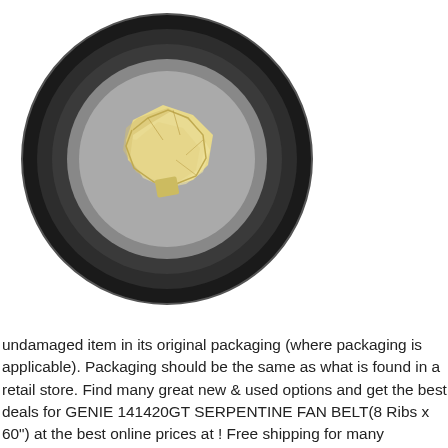[Figure (photo): A round black container or cap viewed from above, with a crumpled yellowish-white material (possibly a serpentine fan belt or packaging material) visible inside it, photographed on a white background.]
undamaged item in its original packaging (where packaging is applicable). Packaging should be the same as what is found in a retail store. Find many great new & used options and get the best deals for GENIE 141420GT SERPENTINE FAN BELT(8 Ribs x 60") at the best online prices at ! Free shipping for many products!. Condition:⁇ New: A brand-new. unused, unless the item was packaged by the manufacturer in non-retail packaging, unopened, such as an unprinted box or plastic bag. See the seller’s listing for full details. See all condition definitions ⁇ Part Type: ⁇ Belt ⁇ Brand: ⁇ Aftermarket⁇ MPN: ⁇ 141420GT⁇ Compatible